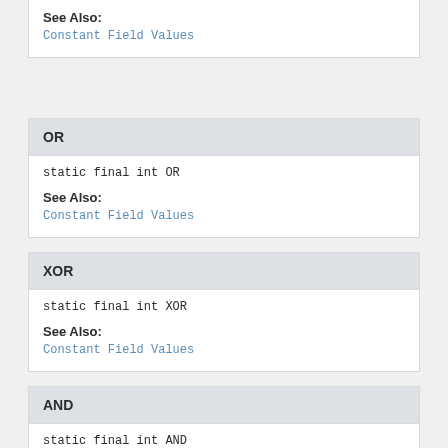See Also:
Constant Field Values
OR
static final int OR
See Also:
Constant Field Values
XOR
static final int XOR
See Also:
Constant Field Values
AND
static final int AND